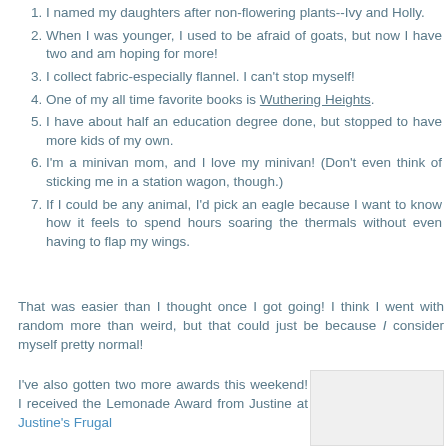I named my daughters after non-flowering plants--Ivy and Holly.
When I was younger, I used to be afraid of goats, but now I have two and am hoping for more!
I collect fabric-especially flannel. I can't stop myself!
One of my all time favorite books is Wuthering Heights.
I have about half an education degree done, but stopped to have more kids of my own.
I'm a minivan mom, and I love my minivan! (Don't even think of sticking me in a station wagon, though.)
If I could be any animal, I'd pick an eagle because I want to know how it feels to spend hours soaring the thermals without even having to flap my wings.
That was easier than I thought once I got going! I think I went with random more than weird, but that could just be because I consider myself pretty normal!
I've also gotten two more awards this weekend! I received the Lemonade Award from Justine at Justine's Frugal
[Figure (other): Image placeholder box on lower right of page]